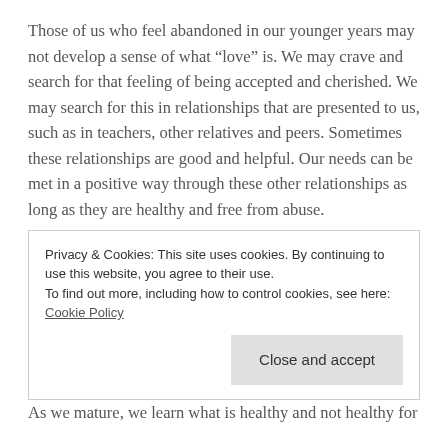Those of us who feel abandoned in our younger years may not develop a sense of what “love” is. We may crave and search for that feeling of being accepted and cherished. We may search for this in relationships that are presented to us, such as in teachers, other relatives and peers. Sometimes these relationships are good and helpful. Our needs can be met in a positive way through these other relationships as long as they are healthy and free from abuse.
Sometimes we find the comfort, acceptance and connection through unhealthy relationships. Until we are mature enough to figure out what is healthy for us, we may
Privacy & Cookies: This site uses cookies. By continuing to use this website, you agree to their use.
To find out more, including how to control cookies, see here: Cookie Policy
As we mature, we learn what is healthy and not healthy for